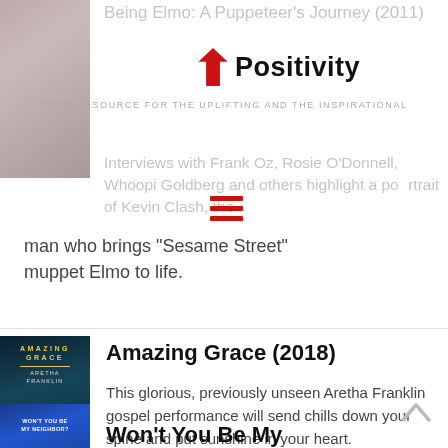[Figure (photo): Partial thumbnail image of Being Elmo documentary cover, top-left corner]
Being Elmo: A Puppeteer's Journey (2011)
[Figure (logo): Positivity website logo with red downward arrow and bold text 'Positivity']
YOUR RESOURCE FOR THE UPLIFTING AND THE INSPIRATIONAL
[Figure (other): Hamburger menu icon (three red horizontal lines)]
Interviews with Frank Oz, Rosie O'Donnell, Whoopi Goldberg and others highlight a portrait of Kevin Clash, the man who brings "Sesame Street" muppet Elmo to life.
[Figure (photo): Amazing Grace (2018) movie cover showing Aretha Franklin in teal/dark tones with text AMAZING GRACE ARETHA FRANKLIN]
Amazing Grace (2018)
This glorious, previously unseen Aretha Franklin gospel performance will send chills down your spine and put sunshine in your heart.
[Figure (photo): Won't You Be My Neighbor documentary cover, partially visible, blue tones]
Won't You Be My